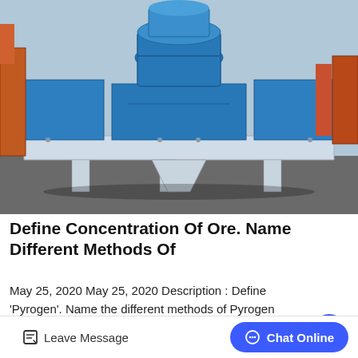[Figure (photo): Large blue industrial mining/crushing machine (VSI crusher or similar) on a platform outdoors, with orange equipment visible in background]
Define Concentration Of Ore. Name Different Methods Of
May 25, 2020 May 25, 2020 Description : Define 'Pyrogen'. Name the different methods of Pyrogen testing. Describe Rabbits method.
Last Answer · Definition: Pyrogen